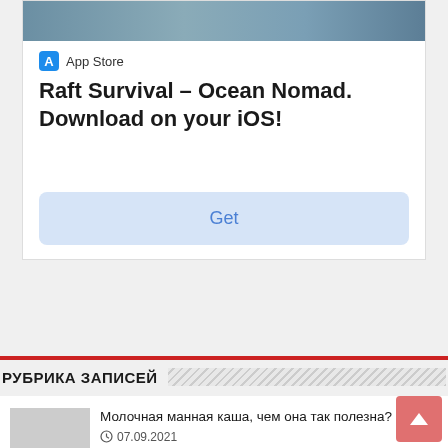[Figure (screenshot): App Store advertisement card for 'Raft Survival – Ocean Nomad' iOS app, showing a partial image of ocean/raft scene at top, App Store icon and label, bold title text, and a 'Get' button]
Raft Survival – Ocean Nomad. Download on your iOS!
РУБРИКА ЗАПИСЕЙ
Молочная манная каша, чем она так полезна?
07.09.2021